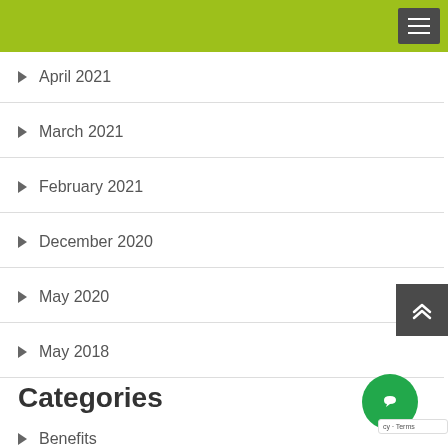April 2021
March 2021
February 2021
December 2020
May 2020
May 2018
Categories
Benefits